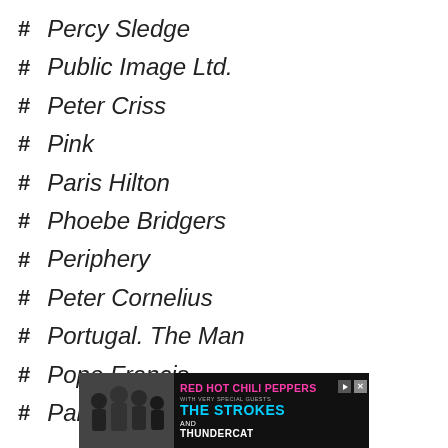Percy Sledge
Public Image Ltd.
Peter Criss
Pink
Paris Hilton
Phoebe Bridgers
Periphery
Peter Cornelius
Portugal. The Man
Pope Francis
Parker McCollum
[Figure (screenshot): Advertisement banner for Red Hot Chili Peppers featuring The Strokes and Thundercat, with a black and white photo of band members on the left and colorful text on the right]